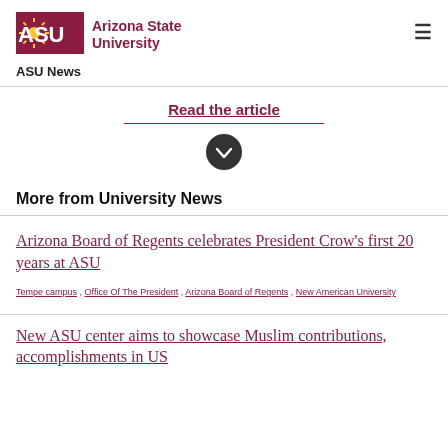[Figure (logo): ASU logo with maroon letters and gold sun icon, next to 'Arizona State University' text]
ASU News
Read the article
More from University News
Arizona Board of Regents celebrates President Crow's first 20 years at ASU
Tempe campus , Office Of The President , Arizona Board of Regents , New American University
New ASU center aims to showcase Muslim contributions, accomplishments in US